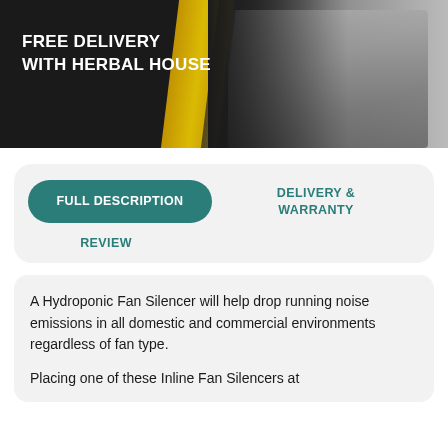[Figure (photo): Promotional banner showing two people exchanging boxes next to a white vehicle, with text 'FREE DELIVERY WITH HERBAL HOUSE' on dark background with gold diagonal stripe.]
FULL DESCRIPTION
DELIVERY & WARRANTY
REVIEW
A Hydroponic Fan Silencer will help drop running noise emissions in all domestic and commercial environments regardless of fan type.
Placing one of these Inline Fan Silencers at